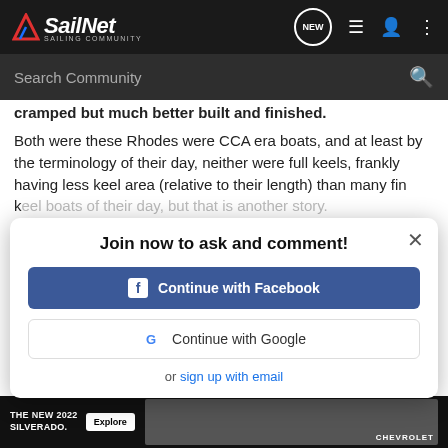SailNet SAILING COMMUNITY
Search Community
cramped but much better built and finished.
Both were these Rhodes were CCA era boats, and at least by the terminology of their day, neither were full keels, frankly having less keel area (relative to their length) than many fin keel boats of their day, but that is another story.
I would also disagree that these boats had pinched sterns. These boats had plenty of beam for their day, and did not have pinched sterns. They had long overhangs, but compared to the RORC derived designs they had a straighter run, more level counter, and fuller buttock sections.
Join now to ask and comment!
Continue with Facebook
Continue with Google
or sign up with email
As to other boats such as the Sparkman 30, or perhaps general design t...